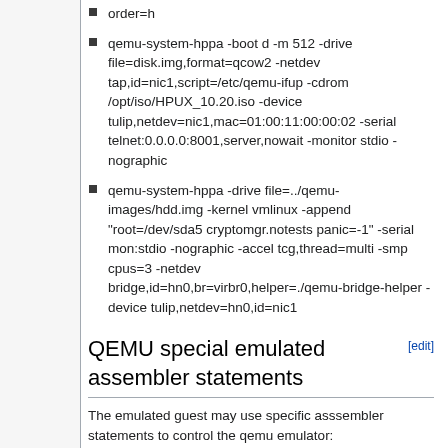order=h
qemu-system-hppa -boot d -m 512 -drive file=disk.img,format=qcow2 -netdev tap,id=nic1,script=/etc/qemu-ifup -cdrom /opt/iso/HPUX_10.20.iso -device tulip,netdev=nic1,mac=01:00:11:00:00:02 -serial telnet:0.0.0.0:8001,server,nowait -monitor stdio -nographic
qemu-system-hppa -drive file=../qemu-images/hdd.img -kernel vmlinux -append "root=/dev/sda5 cryptomgr.notests panic=-1" -serial mon:stdio -nographic -accel tcg,thread=multi -smp cpus=3 -netdev bridge,id=hn0,br=virbr0,helper=./qemu-bridge-helper -device tulip,netdev=hn0,id=nic1
QEMU special emulated assembler statements
The emulated guest may use specific asssembler statements to control the qemu emulator:
word 0xfffdead0 -- immediately halt the